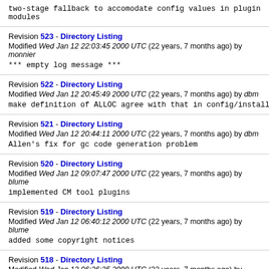two-stage fallback to accomodate config values in plugin
modules
Revision 523 - Directory Listing
Modified Wed Jan 12 22:03:45 2000 UTC (22 years, 7 months ago) by monnier
*** empty log message ***
Revision 522 - Directory Listing
Modified Wed Jan 12 20:45:49 2000 UTC (22 years, 7 months ago) by dbm
make definition of ALLOC agree with that in config/install.sh
Revision 521 - Directory Listing
Modified Wed Jan 12 20:44:11 2000 UTC (22 years, 7 months ago) by dbm
Allen's fix for gc code generation problem
Revision 520 - Directory Listing
Modified Wed Jan 12 09:07:47 2000 UTC (22 years, 7 months ago) by blume
implemented CM tool plugins
Revision 519 - Directory Listing
Modified Wed Jan 12 06:40:12 2000 UTC (22 years, 7 months ago) by blume
added some copyright notices
Revision 518 - Directory Listing
Modified Wed Jan 12 06:26:25 2000 UTC (22 years, 7 months ago) by blume
tool plugins implemented
Revision 517 - Directory Listing
Modified Wed Jan 12 03:17:34 2000 UTC (22 years, 7 months ago) by jhr